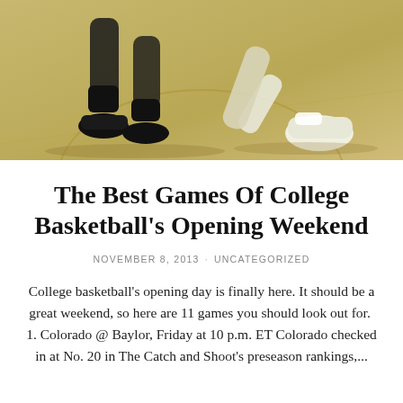[Figure (photo): Basketball players' legs and feet on a hardwood court. One player wearing dark socks and black sneakers, another diving or lunging in white shoes. Close-up shot from waist down showing the court floor.]
The Best Games Of College Basketball's Opening Weekend
NOVEMBER 8, 2013 · UNCATEGORIZED
College basketball's opening day is finally here. It should be a great weekend, so here are 11 games you should look out for.  1. Colorado @ Baylor, Friday at 10 p.m. ET Colorado checked in at No. 20 in The Catch and Shoot's preseason rankings,...